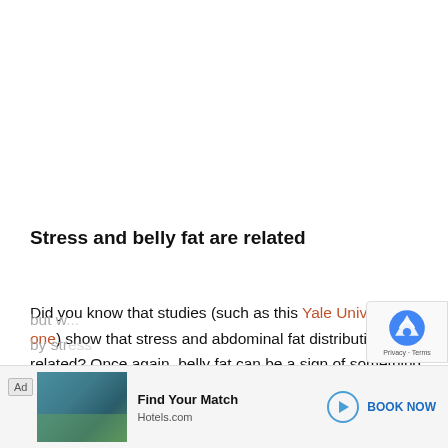Stress and belly fat are related
Did you know that studies (such as this Yale University one) show that stress and abdominal fat distribution are related? Once again, belly fat can be a sign of something else. Our society in general can think of weight gain as simply a lack of self-cont[rol,] but w[e...] by str[ess]
[Figure (other): Advertisement banner at bottom of page: Hotels.com ad with pool/resort image, 'Find Your Match' headline, play button, and 'BOOK NOW' call to action. Partially overlaid by reCAPTCHA widget.]